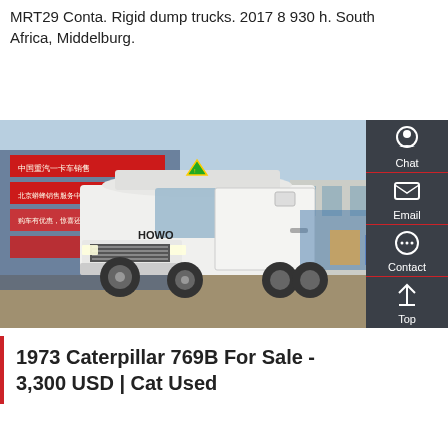MRT29 Conta. Rigid dump trucks. 2017 8 930 h. South Africa, Middelburg.
Get a Quote
[Figure (photo): A white HOWO heavy-duty truck/tractor unit parked in front of a building with Chinese text signage. The truck is facing left-forward, showing its front and side profile.]
1973 Caterpillar 769B For Sale - 3,300 USD | Cat Used